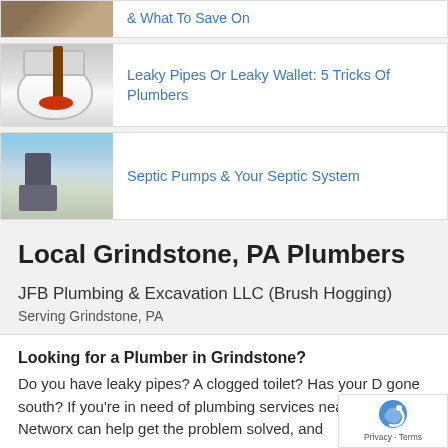[Figure (photo): Partial view of plumbing-related image (woodworking/pipe fittings), cropped at top]
& What To Save On
[Figure (photo): Toilet with a plunger being inserted]
Leaky Pipes Or Leaky Wallet: 5 Tricks Of Plumbers
[Figure (photo): Outdoor winter scene with a person working on a septic pump system]
Septic Pumps & Your Septic System
Local Grindstone, PA Plumbers
JFB Plumbing & Excavation LLC (Brush Hogging)
Serving Grindstone, PA
Looking for a Plumber in Grindstone?
Do you have leaky pipes? A clogged toilet? Has your D gone south? If you're in need of plumbing services nea Grindstone, Networx can help get the problem solved, and